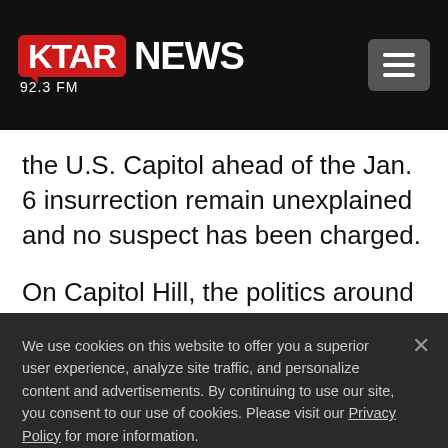[Figure (logo): KTAR NEWS 92.3 FM logo on black header bar with hamburger menu button]
the U.S. Capitol ahead of the Jan. 6 insurrection remain unexplained and no suspect has been charged.
On Capitol Hill, the politics around fencing in the iconic building and its grounds were
We use cookies on this website to offer you a superior user experience, analyze site traffic, and personalize content and advertisements. By continuing to use our site, you consent to our use of cookies. Please visit our Privacy Policy for more information.
Accept Cookies